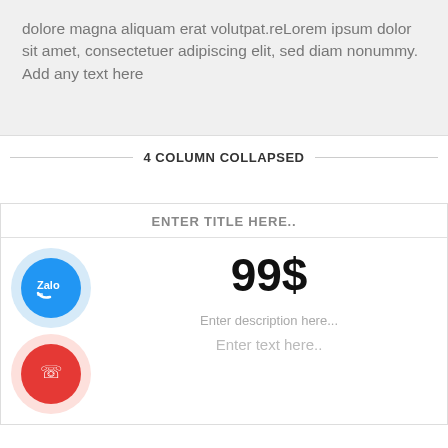dolore magna aliquam erat volutpat.reLorem ipsum dolor sit amet, consectetuer adipiscing elit, sed diam nonummy. Add any text here
4 COLUMN COLLAPSED
ENTER TITLE HERE..
[Figure (illustration): Blue Zalo app icon inside a light blue circle]
99$
[Figure (illustration): Red phone icon inside a light red/pink circle]
Enter description here...
Enter text here..